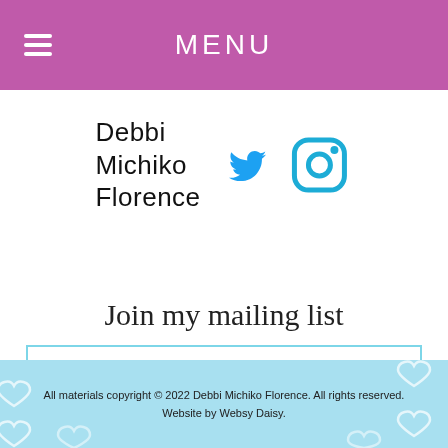MENU
[Figure (logo): Debbi Michiko Florence logo text with Twitter bird icon and Instagram camera icon in sky blue]
Join my mailing list
EMAIL ADDRESS
[Figure (other): Yellow cloud-shaped Go! button]
All materials copyright © 2022 Debbi Michiko Florence. All rights reserved. Website by Websy Daisy.